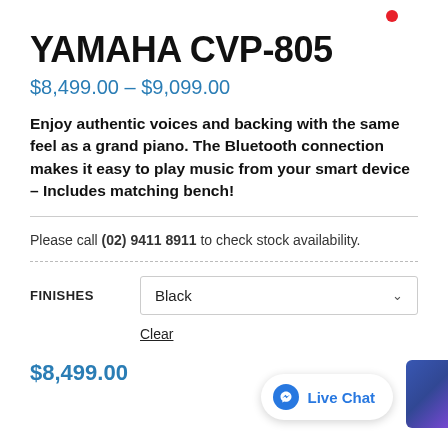YAMAHA CVP-805
$8,499.00 – $9,099.00
Enjoy authentic voices and backing with the same feel as a grand piano. The Bluetooth connection makes it easy to play music from your smart device – Includes matching bench!
Please call (02) 9411 8911 to check stock availability.
FINISHES  Black
Clear
$8,499.00